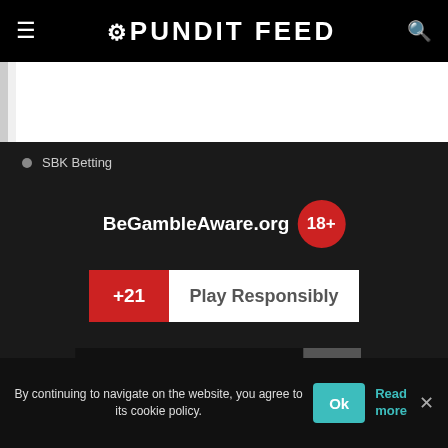☰ PUNDIT FEED 🔍
[Figure (other): White banner/advertisement placeholder area]
SBK Betting
[Figure (logo): BeGambleAware.org logo with 18+ red circle badge]
[Figure (infographic): +21 Play Responsibly banner with red +21 block and white text]
[Figure (logo): As Featured On News Now banner with dark background and logo]
By continuing to navigate on the website, you agree to its cookie policy.
Ok
Read more